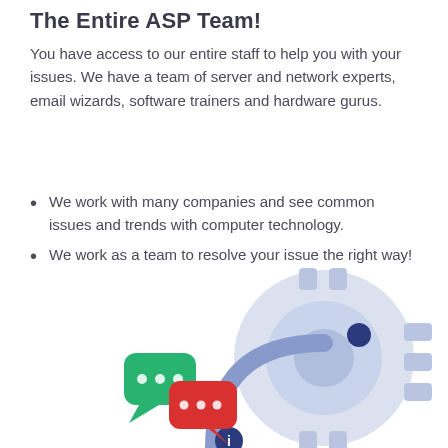The Entire ASP Team!
You have access to our entire staff to help you with your issues. We have a team of server and network experts, email wizards, software trainers and hardware gurus.
We work with many companies and see common issues and trends with computer technology.
We work as a team to resolve your issue the right way!
[Figure (illustration): Isometric illustration showing chat bubbles (green and red) alongside gear/cog shapes and a clock or info icon, representing IT support teamwork]